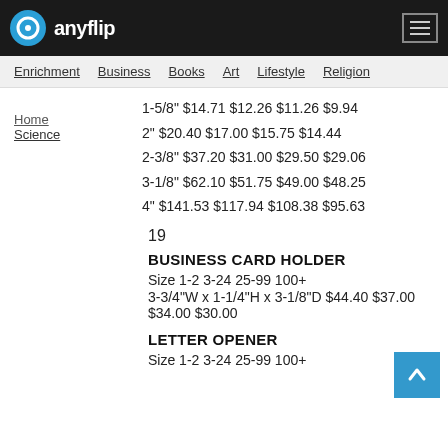anyflip
Enrichment  Business  Books  Art  Lifestyle  Religion
Home  Science
1-5/8" $14.71 $12.26 $11.26 $9.94
2" $20.40 $17.00 $15.75 $14.44
2-3/8" $37.20 $31.00 $29.50 $29.06
3-1/8" $62.10 $51.75 $49.00 $48.25
4" $141.53 $117.94 $108.38 $95.63
19
BUSINESS CARD HOLDER
Size 1-2 3-24 25-99 100+
3-3/4"W x 1-1/4"H x 3-1/8"D $44.40 $37.00 $34.00 $30.00
LETTER OPENER
Size 1-2 3-24 25-99 100+